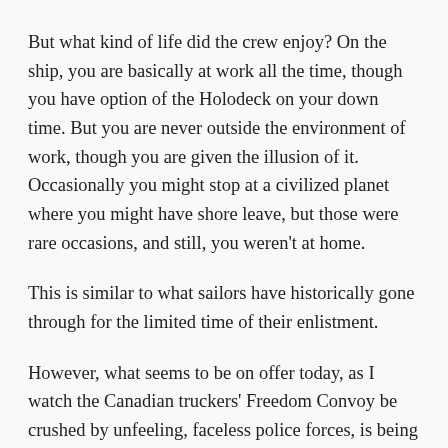But what kind of life did the crew enjoy? On the ship, you are basically at work all the time, though you have option of the Holodeck on your down time. But you are never outside the environment of work, though you are given the illusion of it. Occasionally you might stop at a civilized planet where you might have shore leave, but those were rare occasions, and still, you weren’t at home.
This is similar to what sailors have historically gone through for the limited time of their enlistment.
However, what seems to be on offer today, as I watch the Canadian truckers’ Freedom Convoy be crushed by unfeeling, faceless police forces, is being always at work in the service of the corporations, who now seek to govern us not only as workers, but